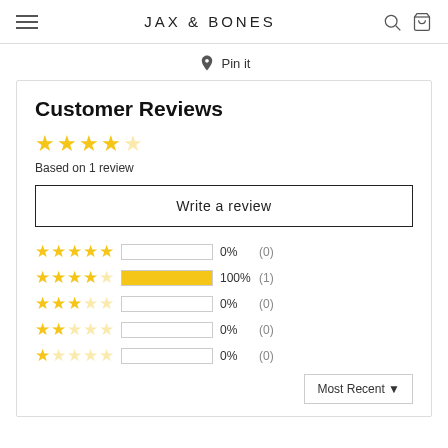JAX & BONES
Pin it
Customer Reviews
Based on 1 review
Write a review
| Stars | Bar | Percent | Count |
| --- | --- | --- | --- |
| 5 stars |  | 0% | (0) |
| 4 stars | 100% | 100% | (1) |
| 3 stars |  | 0% | (0) |
| 2 stars |  | 0% | (0) |
| 1 star |  | 0% | (0) |
Most Recent